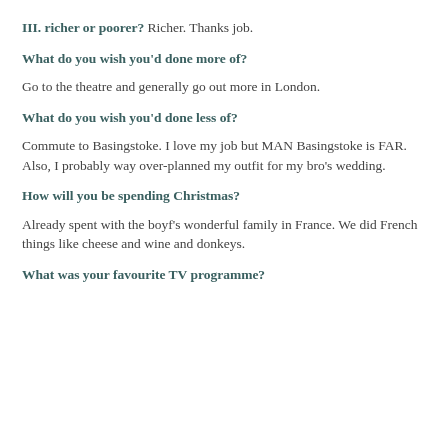III. richer or poorer? Richer. Thanks job.
What do you wish you'd done more of?
Go to the theatre and generally go out more in London.
What do you wish you'd done less of?
Commute to Basingstoke. I love my job but MAN Basingstoke is FAR. Also, I probably way over-planned my outfit for my bro's wedding.
How will you be spending Christmas?
Already spent with the boyf's wonderful family in France. We did French things like cheese and wine and donkeys.
What was your favourite TV programme?